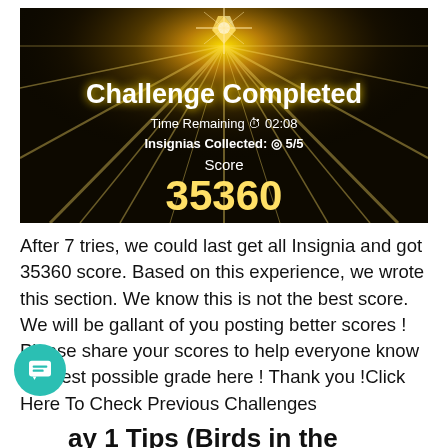[Figure (screenshot): Game screenshot showing 'Challenge Completed' screen with golden light rays, Time Remaining 02:08, Insignias Collected: 5/5, Score 35360]
After 7 tries, we could last get all Insignia and got 35360 score. Based on this experience, we wrote this section. We know this is not the best score. We will be gallant of you posting better scores ! Please share your scores to help everyone know the best possible grade here ! Thank you !Click Here To Check Previous Challenges
Day 1 Tips (Birds in the Breeze) – How To Get Hints...